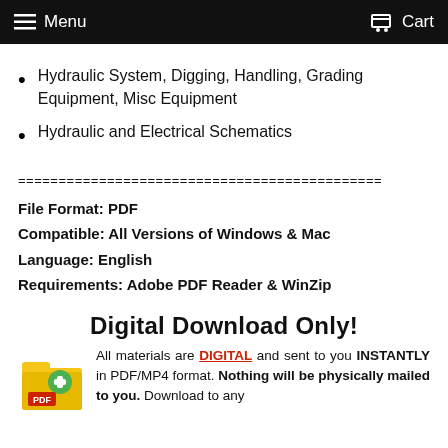Menu  Cart
Hydraulic System, Digging, Handling, Grading Equipment, Misc Equipment
Hydraulic and Electrical Schematics
=============================================
File Format: PDF
Compatible: All Versions of Windows & Mac
Language: English
Requirements: Adobe PDF Reader & WinZip
Digital Download Only!
All materials are DIGITAL and sent to you INSTANTLY in PDF/MP4 format. Nothing will be physically mailed to you. Download to any